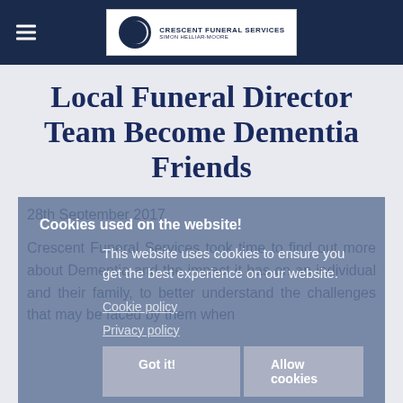Crescent Funeral Services — Simon Helliar-Moore
Local Funeral Director Team Become Dementia Friends
Cookies used on the website!
This website uses cookies to ensure you get the best experience on our website.
Cookie policy
Privacy policy
Got it! | Allow cookies
28th September 2017
Crescent Funeral Services took time to find out more about Dementia and the impact it has on an individual and their family, to better understand the challenges that may be faced by them when